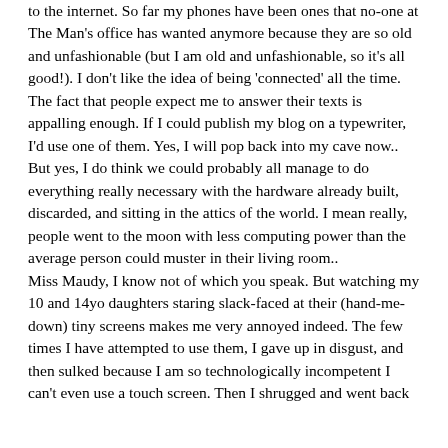to the internet. So far my phones have been ones that no-one at The Man's office has wanted anymore because they are so old and unfashionable (but I am old and unfashionable, so it's all good!). I don't like the idea of being 'connected' all the time. The fact that people expect me to answer their texts is appalling enough. If I could publish my blog on a typewriter, I'd use one of them. Yes, I will pop back into my cave now.. But yes, I do think we could probably all manage to do everything really necessary with the hardware already built, discarded, and sitting in the attics of the world. I mean really, people went to the moon with less computing power than the average person could muster in their living room.. Miss Maudy, I know not of which you speak. But watching my 10 and 14yo daughters staring slack-faced at their (hand-me-down) tiny screens makes me very annoyed indeed. The few times I have attempted to use them, I gave up in disgust, and then sulked because I am so technologically incompetent I can't even use a touch screen. Then I shrugged and went back